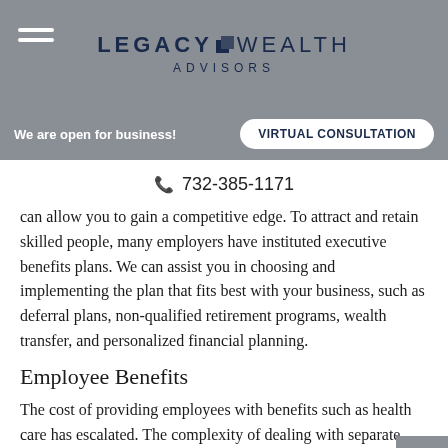LEGACY WEALTH ADVISORS
We are open for business!   VIRTUAL CONSULTATION
732-385-1171
can allow you to gain a competitive edge. To attract and retain skilled people, many employers have instituted executive benefits plans. We can assist you in choosing and implementing the plan that fits best with your business, such as deferral plans, non-qualified retirement programs, wealth transfer, and personalized financial planning.
Employee Benefits
The cost of providing employees with benefits such as health care has escalated. The complexity of dealing with separate advisors for programs such as medical,